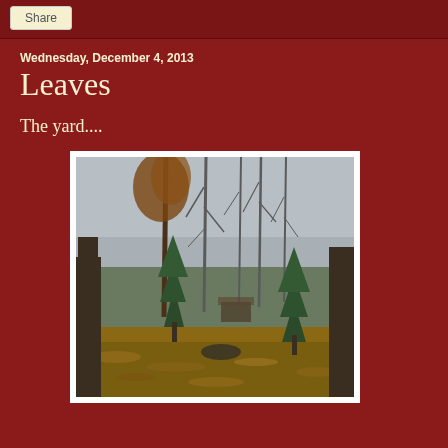Share
Wednesday, December 4, 2013
Leaves
The yard....
[Figure (photo): Outdoor yard scene with bare trees in winter, leaf-covered ground, and evergreen trees, overcast sky]